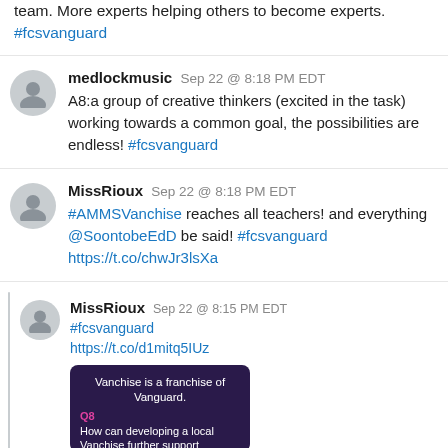team. More experts helping others to become experts. #fcsvanguard
medlockmusic Sep 22 @ 8:18 PM EDT
A8:a group of creative thinkers (excited in the task) working towards a common goal, the possibilities are endless! #fcsvanguard
MissRioux Sep 22 @ 8:18 PM EDT
#AMMSVanchise reaches all teachers! and everything @SoontobeEdD be said! #fcsvanguard https://t.co/chwJr3lsXa
MissRioux Sep 22 @ 8:15 PM EDT
#fcsvanguard https://t.co/d1mitq5IUz
[Figure (screenshot): Preview card showing 'Vanchise is a franchise of Vanguard.' with Q8 prompt 'How can developing a local Vanchise further support schools?']